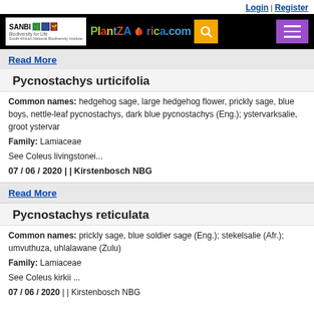Login | Register
[Figure (screenshot): PlantZAfrica.com website header with SANBI logo, PlantZAfrica colorful logo, search button, and hamburger menu]
Read More
Pycnostachys urticifolia
Common names: hedgehog sage, large hedgehog flower, prickly sage, blue boys, nettle-leaf pycnostachys, dark blue pycnostachys (Eng.); ystervarksalie, groot ystervar
Family: Lamiaceae
See Coleus livingstonei...
07 / 06 / 2020 | | Kirstenbosch NBG
Read More
Pycnostachys reticulata
Common names: prickly sage, blue soldier sage (Eng.); stekelsalie (Afr.); umvuthuza, uhlalawane (Zulu)
Family: Lamiaceae
See Coleus kirkii ...
07 / 06 / 2020 | | Kirstenbosch NBG